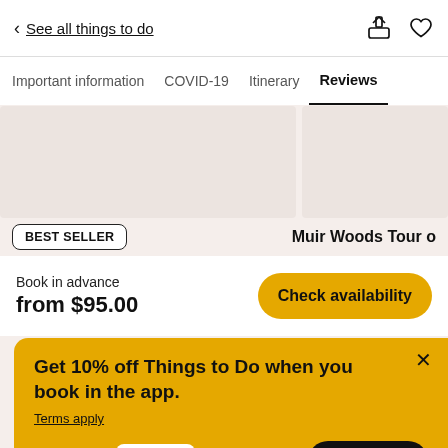< See all things to do
Important information  COVID-19  Itinerary  Reviews
[Figure (photo): Two image placeholders showing a tour listing]
BEST SELLER
Muir Woods Tour o
Book in advance
from $95.00
Check availability
Get 10% off Things to Do when you book in the app.
Terms apply
Use code: APP10
Shop now